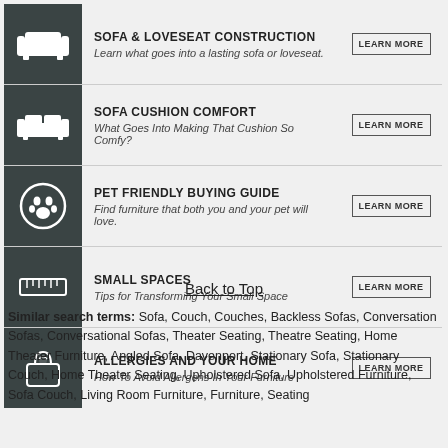[Figure (infographic): Five guide rows with dark icon column on left, title and subtitle in center, and LEARN MORE button on right. Topics: Sofa & Loveseat Construction, Sofa Cushion Comfort, Pet Friendly Buying Guide, Small Spaces, Allergies and Your Home.]
Back to Top
Similar search terms: Sofa, Couch, Couches, Backless Sofas, Conversation Sofas, Conversational Sofas, Theater Seating, Theatre Seating, Home Theater Furniture, Angled Sofa, Davenport, Stationary Sofa, Stationary Couch, Home Theater Seating, Upholstered Sofa, Upholstered Furniture, Sofa Couch, Living Room Furniture, Furniture, Seating